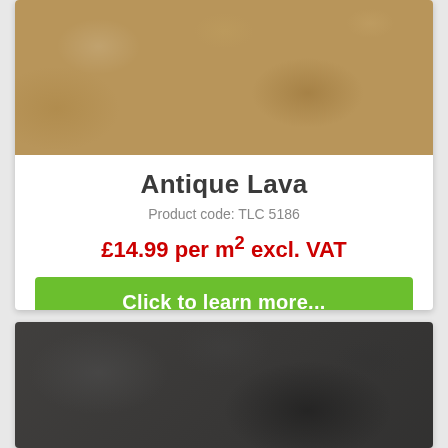[Figure (photo): Antique Lava flooring texture — warm beige/brown mottled stone pattern]
Antique Lava
Product code: TLC 5186
£14.99 per m² excl. VAT
Click to learn more...
[Figure (photo): Dark grey/charcoal textured flooring swatch — second product preview]